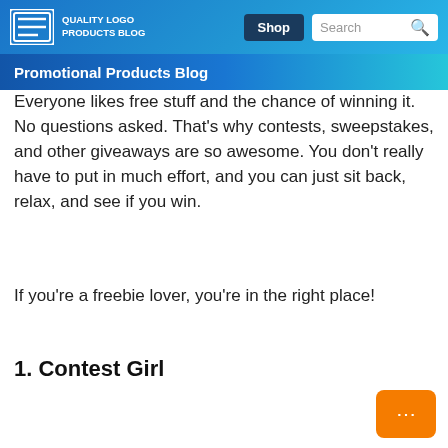QUALITY LOGO PRODUCTS BLOG | Shop | Search
Promotional Products Blog
Everyone likes free stuff and the chance of winning it. No questions asked. That's why contests, sweepstakes, and other giveaways are so awesome. You don't really have to put in much effort, and you can just sit back, relax, and see if you win.
If you're a freebie lover, you're in the right place!
1. Contest Girl